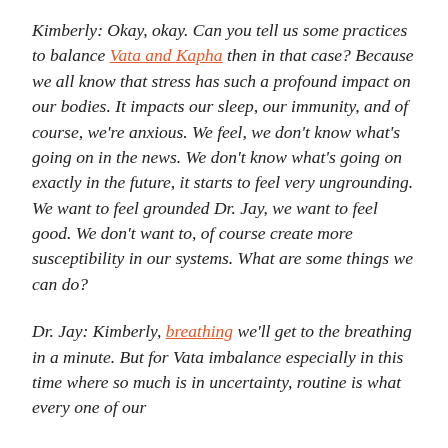Kimberly: Okay, okay. Can you tell us some practices to balance Vata and Kapha then in that case? Because we all know that stress has such a profound impact on our bodies. It impacts our sleep, our immunity, and of course, we're anxious. We feel, we don't know what's going on in the news. We don't know what's going on exactly in the future, it starts to feel very ungrounding. We want to feel grounded Dr. Jay, we want to feel good. We don't want to, of course create more susceptibility in our systems. What are some things we can do?
Dr. Jay: Kimberly, breathing we'll get to the breathing in a minute. But for Vata imbalance especially in this time where so much is in uncertainty, routine is what every one of our